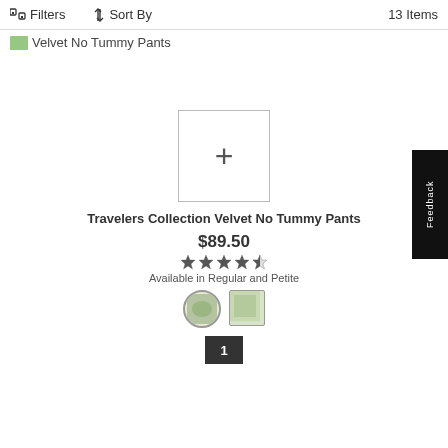Filters  Sort By  13 Items
Velvet No Tummy Pants
[Figure (other): Plus icon placeholder for product image]
Travelers Collection Velvet No Tummy Pants
$89.50
4.5 stars rating
Available in Regular and Petite
[Figure (other): Color swatch 1]
[Figure (other): Color swatch 2]
1